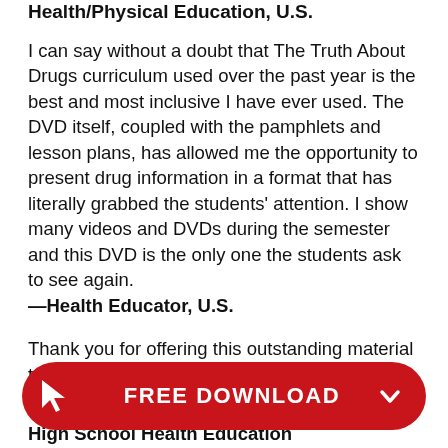Health/Physical Education, U.S.
I can say without a doubt that The Truth About Drugs curriculum used over the past year is the best and most inclusive I have ever used. The DVD itself, coupled with the pamphlets and lesson plans, has allowed me the opportunity to present drug information in a format that has literally grabbed the students' attention. I show many videos and DVDs during the semester and this DVD is the only one the students ask to see again. —Health Educator, U.S.
Thank you for offering this outstanding material to the school free of charge. I know the amount put a... prog...
High School Health Education
[Figure (other): Red pill-shaped FREE DOWNLOAD call-to-action button with cursor icon on left and chevron on right]